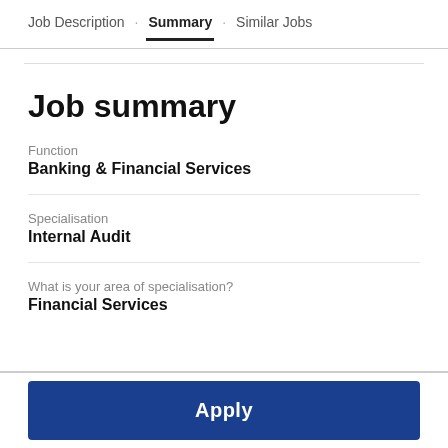Job Description · Summary · Similar Jobs
Job summary
Function
Banking & Financial Services
Specialisation
Internal Audit
What is your area of specialisation?
Financial Services
Apply